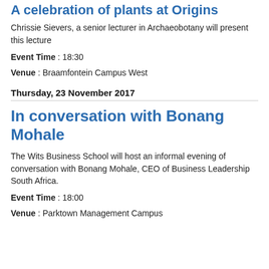A celebration of plants at Origins
Chrissie Sievers, a senior lecturer in Archaeobotany will present this lecture
Event Time : 18:30
Venue : Braamfontein Campus West
Thursday, 23 November 2017
In conversation with Bonang Mohale
The Wits Business School will host an informal evening of conversation with Bonang Mohale, CEO of Business Leadership South Africa.
Event Time : 18:00
Venue : Parktown Management Campus